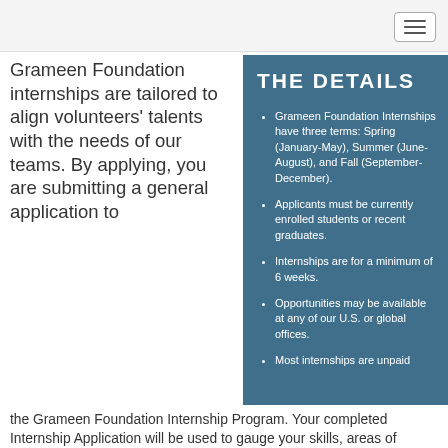Grameen Foundation internships are tailored to align volunteers' talents with the needs of our teams. By applying, you are submitting a general application to the Grameen Foundation Internship Program. Your completed Internship Application will be used to gauge your skills, areas of interest, and location preferences. Additional interviews will be conducted with top candidates by Grameen Foundation staff.
THE DETAILS
Grameen Foundation Internships have three terms: Spring (January-May), Summer (June-August), and Fall (September-December).
Applicants must be currently enrolled students or recent graduates.
Internships are for a minimum of 6 weeks.
Opportunities may be available at any of our U.S. or global offices.
Most internships are unpaid